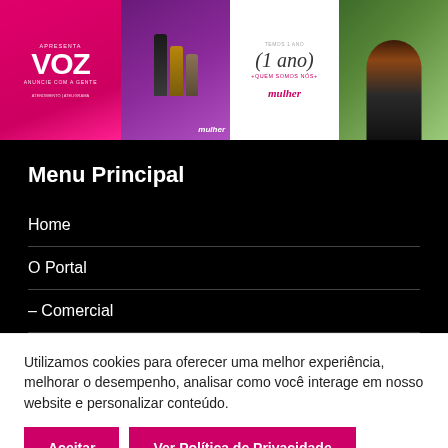[Figure (screenshot): Four image tiles in a row: (1) pink background with 'VOZ' text in white, (2) purple background with product bottles and 'mulher' logo, (3) white background with '(1 ano)' italic text and 'mulher' branding in pink, (4) floral/garden photo of a woman]
Menu Principal
Home
O Portal
– Comercial
Utilizamos cookies para oferecer uma melhor experiência, melhorar o desempenho, analisar como você interage em nosso website e personalizar conteúdo.
Aceitar
Ver Política de Privacidade